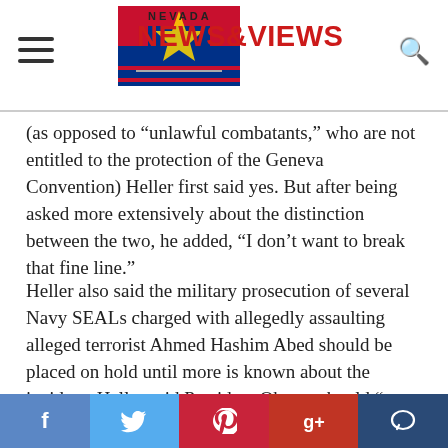Nevada News & Views
(as opposed to “unlawful combatants,” who are not entitled to the protection of the Geneva Convention) Heller first said yes. But after being asked more extensively about the distinction between the two, he added, “I don’t want to break that fine line.”
Heller also said the military prosecution of several Navy SEALs charged with allegedly assaulting alleged terrorist Ahmed Hashim Abed should be placed on hold until more is known about the incident. Heller said President Obama should “put the breaks” on the prosecution until he gets more information. But, the congressman added, “If there’s cause, then we ought to move forward.”
Facebook Twitter Pinterest Google+ Comment